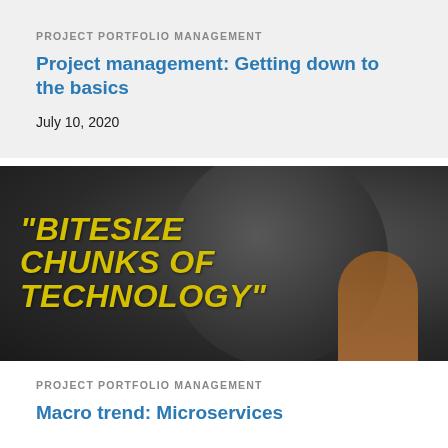PROJECT PORTFOLIO MANAGEMENT
Project management: Getting down to the basics
July 10, 2020
[Figure (photo): Dark background image with a person holding what appears to be a dark round object (apple/ball), overlaid with bold yellow italic text reading "BITESIZE CHUNKS OF TECHNOLOGY"]
PROJECT PORTFOLIO MANAGEMENT
Macro trend: Microservices